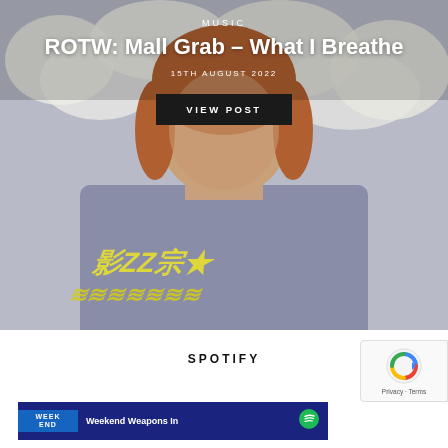[Figure (photo): A young man with long reddish-brown hair photographed against a background of white flowers, wearing a grey t-shirt with yellow graphic print text]
MUSIC
ROTW: Mall Grab – What I Breathe
15TH AUGUST 2022
VIEW POST
SPOTIFY
Weekend Weapons In